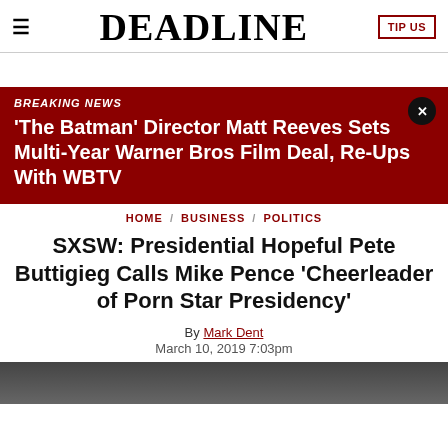≡  DEADLINE  TIP US
BREAKING NEWS
'The Batman' Director Matt Reeves Sets Multi-Year Warner Bros Film Deal, Re-Ups With WBTV
HOME / BUSINESS / POLITICS
SXSW: Presidential Hopeful Pete Buttigieg Calls Mike Pence 'Cheerleader of Porn Star Presidency'
By Mark Dent
March 10, 2019 7:03pm
[Figure (photo): Bottom strip showing a partially visible person/subject related to the article]